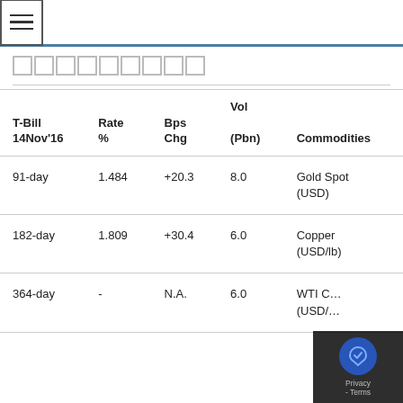☰ [navigation header bar]
□□□□□□□□□
| T-Bill 14Nov'16 | Rate % | Bps Chg | Vol (Pbn) | Commodities |
| --- | --- | --- | --- | --- |
| 91-day | 1.484 | +20.3 | 8.0 | Gold Spot (USD) |
| 182-day | 1.809 | +30.4 | 6.0 | Copper (USD/lb) |
| 364-day | - | N.A. | 6.0 | WTI C... (USD/...) |